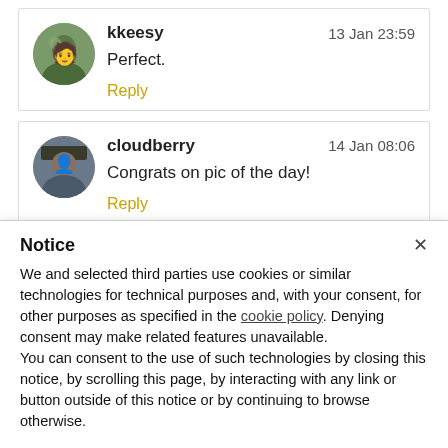kkeesy — 13 Jan 23:59
Perfect.
Reply
cloudberry — 14 Jan 08:06
Congrats on pic of the day!
Reply
Notice
We and selected third parties use cookies or similar technologies for technical purposes and, with your consent, for other purposes as specified in the cookie policy. Denying consent may make related features unavailable.
You can consent to the use of such technologies by closing this notice, by scrolling this page, by interacting with any link or button outside of this notice or by continuing to browse otherwise.